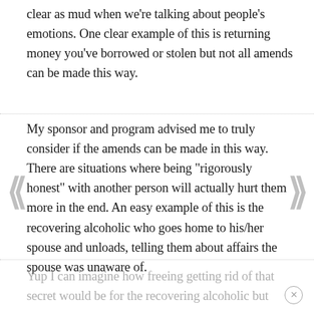clear as mud when we're talking about people's emotions. One clear example of this is returning money you've borrowed or stolen but not all amends can be made this way.
My sponsor and program advised me to truly consider if the amends can be made in this way. There are situations where being "rigorously honest" with another person will actually hurt them more in the end. An easy example of this is the recovering alcoholic who goes home to his/her spouse and unloads, telling them about affairs the spouse was unaware of.
Yup I can imagine how freeing getting rid of that secret would be for the recovering alcoholic but